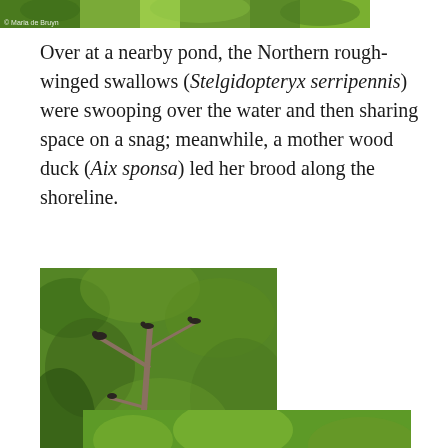[Figure (photo): Partial top image of green foliage with photographer watermark '© Maria de Bruyn']
Over at a nearby pond, the Northern rough-winged swallows (Stelgidopteryx serripennis) were swooping over the water and then sharing space on a snag; meanwhile, a mother wood duck (Aix sponsa) led her brood along the shoreline.
[Figure (photo): Photo of birds (Northern rough-winged swallows) perched on bare branches of a snag, green foliage background. Watermark '© Maria de Bruyn'.]
[Figure (photo): Partial photo at bottom showing green aquatic vegetation and water, likely showing wood duck or swallows near shoreline.]